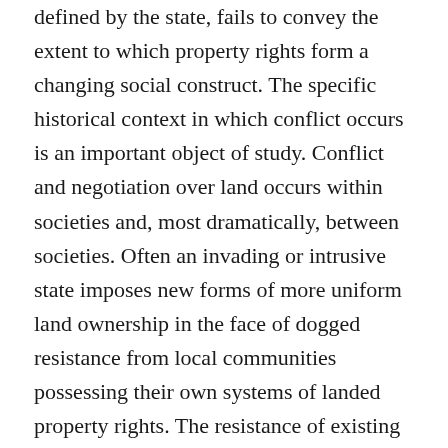defined by the state, fails to convey the extent to which property rights form a changing social construct. The specific historical context in which conflict occurs is an important object of study. Conflict and negotiation over land occurs within societies and, most dramatically, between societies. Often an invading or intrusive state imposes new forms of more uniform land ownership in the face of dogged resistance from local communities possessing their own systems of landed property rights. The resistance of existing property rights systems to change is another important variable. A significant empirical question is: How do people behave when their property rights in land are